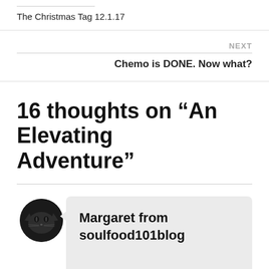The Christmas Tag 12.1.17
NEXT
Chemo is DONE. Now what?
16 thoughts on “An Elevating Adventure”
[Figure (photo): Circular avatar photo of a dark-colored cat face against dark background]
Margaret from soulfood101blog